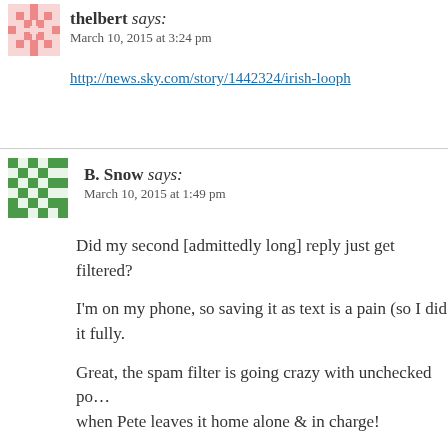[Figure (illustration): Pink pixel-art avatar for user thelbert]
thelbert says:
March 10, 2015 at 3:24 pm
http://news.sky.com/story/1442324/irish-looph
[Figure (illustration): Green pixel-art avatar for user B. Snow]
B. Snow says:
March 10, 2015 at 1:49 pm
Did my second [admittedly long] reply just get filtered?
I'm on my phone, so saving it as text is a pain (so I did not do it fully.
Great, the spam filter is going crazy with unchecked power when Pete leaves it home alone & in charge!
[Figure (illustration): Blue pixel-art avatar for user IrishNews]
IrishNews says:
March 10, 2015 at 1:55 pm